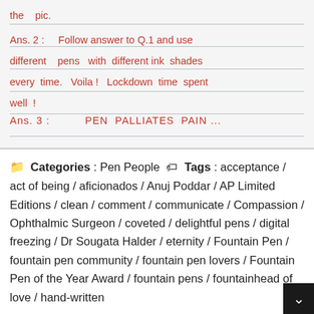the pic.
Ans. 2 : Follow answer to Q.1 and use different pens with different ink shades every time. Voila ! Lockdown time spent well !
Ans. 3 :        PEN PALLIATES PAIN ...
Categories : Pen People   Tags : acceptance / act of being / aficionados / Anuj Poddar / AP Limited Editions / clean / comment / communicate / Compassion / Ophthalmic Surgeon / coveted / delightful pens / digital freezing / Dr Sougata Halder / eternity / Fountain Pen / fountain pen community / fountain pen lovers / Fountain Pen of the Year Award / fountain pens / fountainhead of love / hand-written